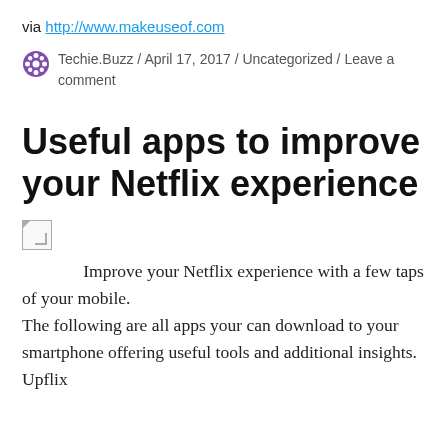via http://www.makeuseof.com
Techie.Buzz / April 17, 2017 / Uncategorized / Leave a comment
Useful apps to improve your Netflix experience
[Figure (other): Broken image placeholder icon]
Improve your Netflix experience with a few taps of your mobile.
The following are all apps your can download to your smartphone offering useful tools and additional insights.
Upflix